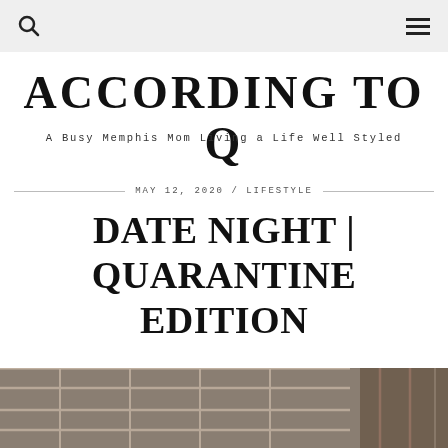According to Q — navigation bar with search and menu icons
ACCORDING TO Q
A Busy Memphis Mom Living a Life Well Styled
MAY 12, 2020 / LIFESTYLE
DATE NIGHT | QUARANTINE EDITION
[Figure (photo): Partial photo of a glass and metal structure, visible at the bottom of the page]